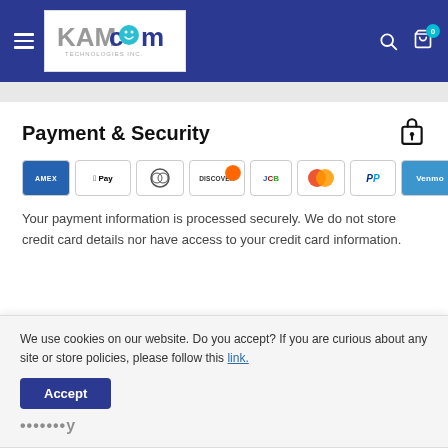[Figure (logo): KAMcom Technologies Inc. logo in navigation bar with hamburger menu, search icon, and cart icon with badge 0]
Payment & Security
[Figure (infographic): Payment method icons: AMEX, Apple Pay, Diners, Discover, JCB, Mastercard, PayPal, Venmo, VISA]
Your payment information is processed securely. We do not store credit card details nor have access to your credit card information.
We use cookies on our website. Do you accept? If you are curious about any site or store policies, please follow this link.